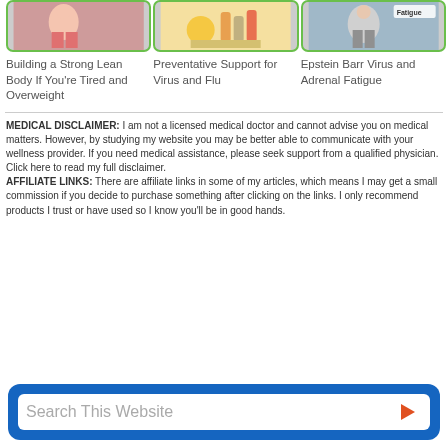[Figure (photo): Image of person doing exercise, building a lean body]
[Figure (photo): Image of vitamins/supplements on a table with orange]
[Figure (photo): Image of person exercising with Fatigue text overlay]
Building a Strong Lean Body If You're Tired and Overweight
Preventative Support for Virus and Flu
Epstein Barr Virus and Adrenal Fatigue
MEDICAL DISCLAIMER: I am not a licensed medical doctor and cannot advise you on medical matters. However, by studying my website you may be better able to communicate with your wellness provider. If you need medical assistance, please seek support from a qualified physician. Click here to read my full disclaimer.
AFFILIATE LINKS: There are affiliate links in some of my articles, which means I may get a small commission if you decide to purchase something after clicking on the links. I only recommend products I trust or have used so I know you'll be in good hands.